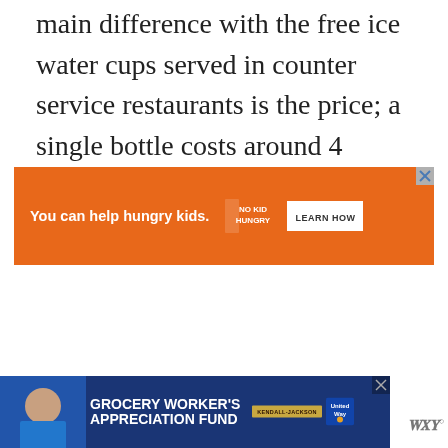main difference with the free ice water cups served in counter service restaurants is the price; a single bottle costs around 4 dollars.
[Figure (other): Orange advertisement banner for No Kid Hungry charity. Text reads: 'You can help hungry kids.' with No Kid Hungry logo and a 'LEARN HOW' button.]
[Figure (other): Dark blue advertisement banner for Grocery Worker's Appreciation Fund, featuring a person, Kendall-Jackson logo, and United Way logo. Close button in top right.]